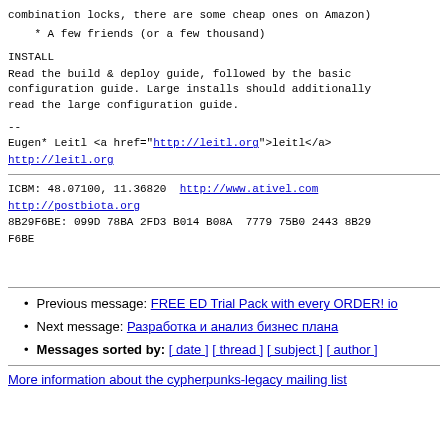combination locks, there are some cheap ones on Amazon)
* A few friends (or a few thousand)
INSTALL
Read the build & deploy guide, followed by the basic configuration guide. Large installs should additionally read the large configuration guide.
--
Eugen* Leitl <a href="http://leitl.org">leitl</a>
http://leitl.org
ICBM: 48.07100, 11.36820  http://www.ativel.com
http://postbiota.org
8B29F6BE: 099D 78BA 2FD3 B014 B08A  7779 75B0 2443 8B29 F6BE
Previous message: FREE ED Trial Pack with every ORDER! io
Next message: Разработка и анализ бизнес плана
Messages sorted by: [ date ] [ thread ] [ subject ] [ author ]
More information about the cypherpunks-legacy mailing list